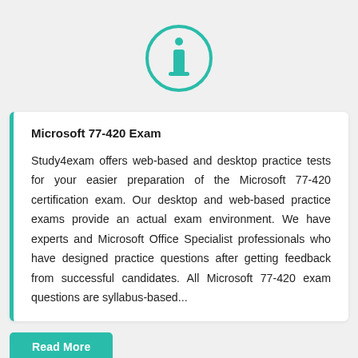[Figure (illustration): Teal/green outlined circle containing a lowercase italic 'i' information icon in teal color]
Microsoft 77-420 Exam
Study4exam offers web-based and desktop practice tests for your easier preparation of the Microsoft 77-420 certification exam. Our desktop and web-based practice exams provide an actual exam environment. We have experts and Microsoft Office Specialist professionals who have designed practice questions after getting feedback from successful candidates. All Microsoft 77-420 exam questions are syllabus-based...